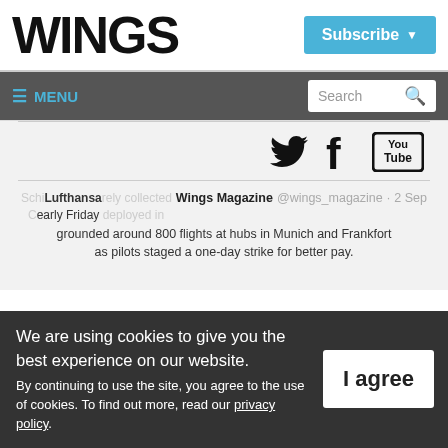WINGS
Subscribe ▼
≡ MENU
Search 🔍
[Figure (illustration): Social media icons: Twitter bird, Facebook f, YouTube logo]
Wings Magazine @wings_magazine · 2 Sep
early Friday
grounded around 800 flights at hubs in Munich and Frankfort as pilots staged a one-day strike for better pay.
We are using cookies to give you the best experience on our website.
By continuing to use the site, you agree to the use of cookies.
To find out more, read our privacy policy.
I agree